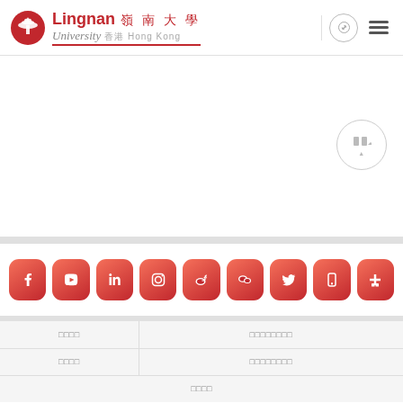Lingnan University 嶺南大學 香港 Hong Kong
[Figure (logo): Lingnan University logo with red circular emblem and bilingual text]
[Figure (infographic): Social media icons row: Facebook, YouTube, LinkedIn, Instagram, Weibo, WeChat, Twitter, Mobile app, More]
| □□□□ | □□□□□□□□ |
| --- | --- |
| □□□□ | □□□□□□□□ |
| □□□□ | □□□□□□□□ |
□□□□
[Figure (logo): QS Stars badge and 2020-2021 Gold award for barrier-free accessibility at bottom of page]